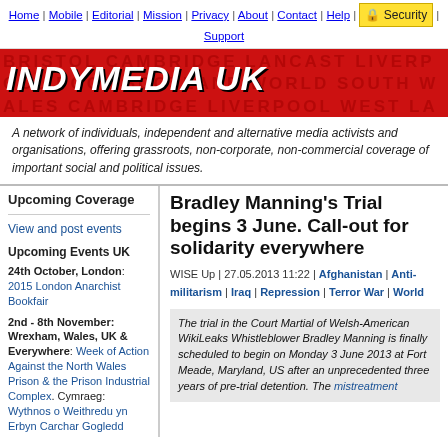Home | Mobile | Editorial | Mission | Privacy | About | Contact | Help | Security | Support
[Figure (logo): IndyMedia UK red banner logo with background city text]
A network of individuals, independent and alternative media activists and organisations, offering grassroots, non-corporate, non-commercial coverage of important social and political issues.
Upcoming Coverage
View and post events
Upcoming Events UK
24th October, London: 2015 London Anarchist Bookfair
2nd - 8th November: Wrexham, Wales, UK & Everywhere: Week of Action Against the North Wales Prison & the Prison Industrial Complex. Cymraeg: Wythnos o Weithredu yn Erbyn Carchar Gogledd
Bradley Manning's Trial begins 3 June. Call-out for solidarity everywhere
WISE Up | 27.05.2013 11:22 | Afghanistan | Anti-militarism | Iraq | Repression | Terror War | World
The trial in the Court Martial of Welsh-American WikiLeaks Whistleblower Bradley Manning is finally scheduled to begin on Monday 3 June 2013 at Fort Meade, Maryland, US after an unprecedented three years of pre-trial detention. The mistreatment